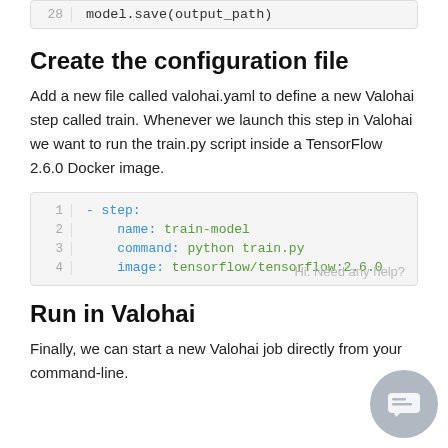model.save(output_path)
Create the configuration file
Add a new file called valohai.yaml to define a new Valohai step called train. Whenever we launch this step in Valohai we want to run the train.py script inside a TensorFlow 2.6.0 Docker image.
- step:
    name: train-model
    command: python train.py
    image: tensorflow/tensorflow:2.6.0
Run in Valohai
Finally, we can start a new Valohai job directly from your command-line.